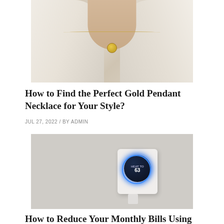[Figure (photo): A person wearing a white shirt and a gold pendant necklace, close-up of neck and collar area]
How to Find the Perfect Gold Pendant Necklace for Your Style?
JUL 27, 2022 / BY ADMIN
[Figure (photo): A Nest smart thermostat mounted on a white wall, showing temperature 63 on its circular dark display with blue ring, on a white square base]
How to Reduce Your Monthly Bills Using